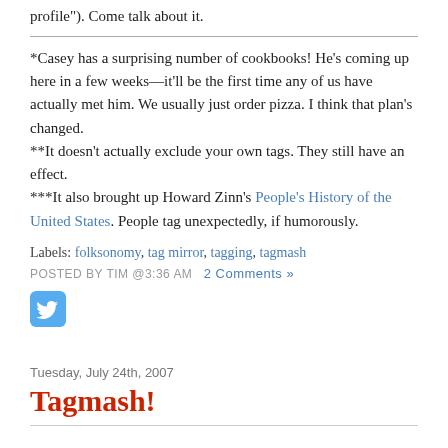profile"). Come talk about it.
*Casey has a surprising number of cookbooks! He's coming up here in a few weeks—it'll be the first time any of us have actually met him. We usually just order pizza. I think that plan's changed.
**It doesn't actually exclude your own tags. They still have an effect.
***It also brought up Howard Zinn's People's History of the United States. People tag unexpectedly, if humorously.
Labels: folksonomy, tag mirror, tagging, tagmash
POSTED BY TIM @3:36 AM   2 Comments »
[Figure (logo): Twitter bird logo icon in a rounded square blue button]
Tuesday, July 24th, 2007
Tagmash!